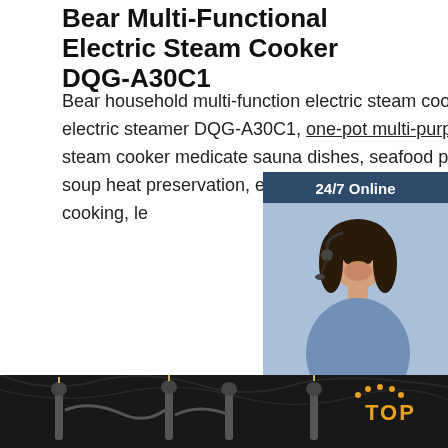Bear Multi-Functional Electric Steam Cooker DQG-A30C1
Bear household multi-function electric steam cooker electric steamer DQG-A30C1, one-pot multi-purpose, steam cooker medicate sauna dishes, seafood porridge, soup heat preservation, etc., adopts Taji-sty distillation cooking, le
[Figure (photo): Customer service representative widget showing a woman with headset, 24/7 Online banner, Click here for free chat text, and QUOTATION button on dark blue background]
[Figure (photo): Dark background product image showing multiple electric steam cooker devices with coil accessories and a TOP badge in orange]
Get Price